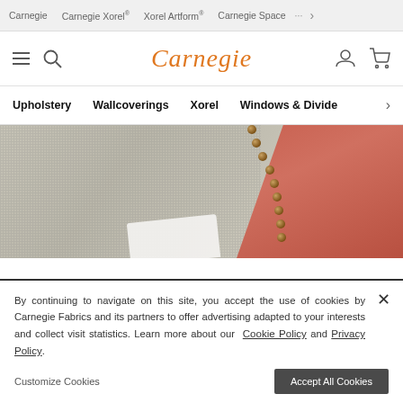Carnegie  Carnegie Xorel  Xorel Artform  Carnegie Space  >
Carnegie
Upholstery  Wallcoverings  Xorel  Windows & Dividers  >
[Figure (photo): Close-up photo of upholstered furniture with gray woven fabric, brass stud detailing along curved edge, coral/terracotta fabric visible at right, and white cloth at bottom]
By continuing to navigate on this site, you accept the use of cookies by Carnegie Fabrics and its partners to offer advertising adapted to your interests and collect visit statistics. Learn more about our Cookie Policy and Privacy Policy.
Customize Cookies
Accept All Cookies